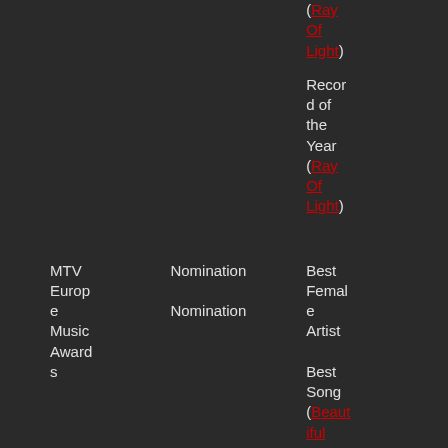| Award | Result | Nominee |
| --- | --- | --- |
|  |  | (Ray Of Light) |
|  |  | Record of the Year (Ray Of Light) |
| MTV Europe Music Awards | Nomination
Nomination | Best Female Artist
Best Song (Beautiful |